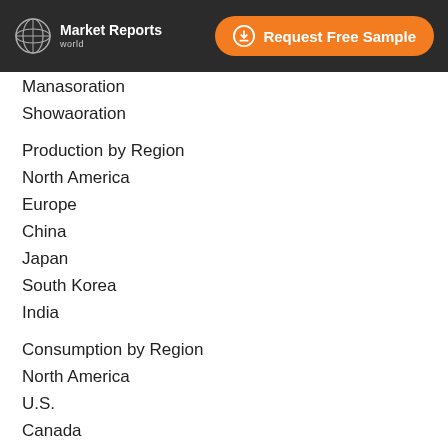Market Reports World | Request Free Sample
Manasoration
Showaoration
Production by Region
North America
Europe
China
Japan
South Korea
India
Consumption by Region
North America
U.S.
Canada
Europe
Germany
France
U.K.
Italy
Russia